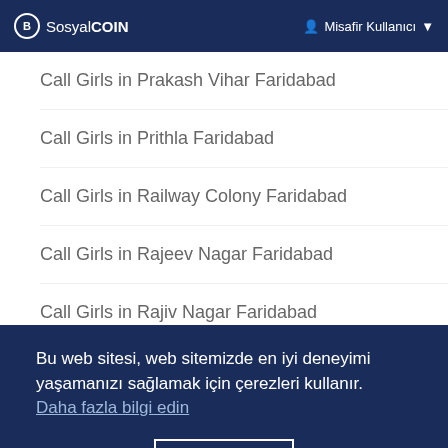SosyalCOIN  Misafir Kullanıcı
Call Girls in Prakash Vihar Faridabad
Call Girls in Prithla Faridabad
Call Girls in Railway Colony Faridabad
Call Girls in Rajeev Nagar Faridabad
Call Girls in Rajiv Nagar Faridabad
Call Girls in Rajpur Kalan Faridabad
Call Girls in Ramnagar Faridabad
Bu web sitesi, web sitemizde en iyi deneyimi yaşamanızı sağlamak için çerezleri kullanır. Daha fazla bilgi edin
Anladım!
Call Girls in Saran Faridabad